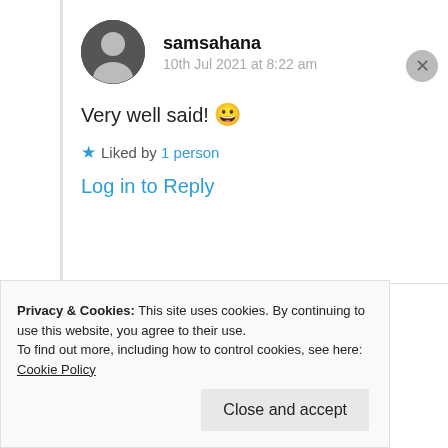samsahana
10th Jul 2021 at 8:22 am
Very well said! 😀
★ Liked by 1 person
Log in to Reply
The Wheelchair Teen
Privacy & Cookies: This site uses cookies. By continuing to use this website, you agree to their use.
To find out more, including how to control cookies, see here: Cookie Policy
Close and accept